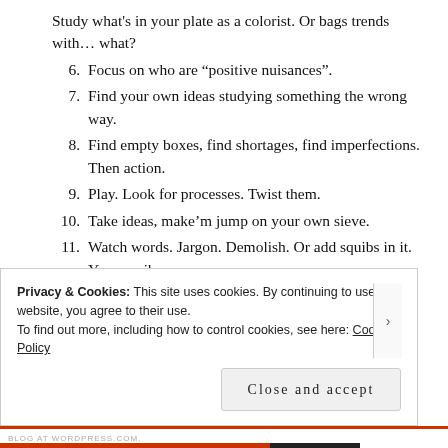Study what's in your plate as a colorist. Or bags trends with… what?
6. Focus on who are “positive nuisances”.
7. Find your own ideas studying something the wrong way.
8. Find empty boxes, find shortages, find imperfections. Then action.
9. Play. Look for processes. Twist them.
10. Take ideas, make’m jump on your own sieve.
11. Watch words. Jargon. Demolish. Or add squibs in it. Your squibs.
Privacy & Cookies: This site uses cookies. By continuing to use this website, you agree to their use.
To find out more, including how to control cookies, see here: Cookie Policy
Close and accept